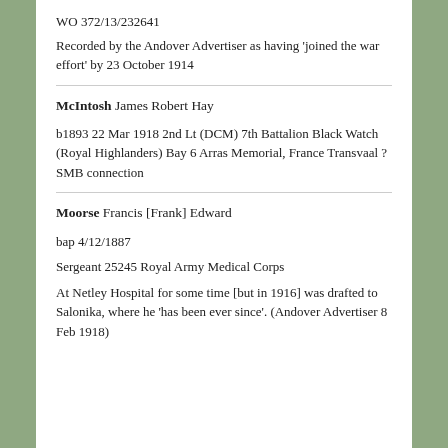WO 372/13/232641
Recorded by the Andover Advertiser as having 'joined the war effort' by 23 October 1914
McIntosh James Robert Hay
b1893 22 Mar 1918 2nd Lt (DCM) 7th Battalion Black Watch (Royal Highlanders) Bay 6 Arras Memorial, France Transvaal ?SMB connection
Moorse Francis [Frank] Edward
bap 4/12/1887
Sergeant 25245 Royal Army Medical Corps
At Netley Hospital for some time [but in 1916] was drafted to Salonika, where he 'has been ever since'. (Andover Advertiser 8 Feb 1918)